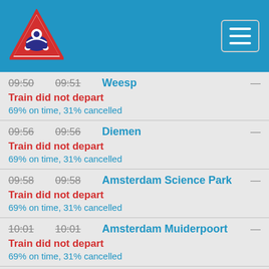[Figure (logo): NS Dutch Railways triangle logo with train icon]
09:50  09:51  Weesp  —
Train did not depart
69% on time, 31% cancelled
09:56  09:56  Diemen  —
Train did not depart
69% on time, 31% cancelled
09:58  09:58  Amsterdam Science Park  —
Train did not depart
69% on time, 31% cancelled
10:01  10:01  Amsterdam Muiderpoort  —
Train did not depart
69% on time, 31% cancelled
10:07  —  Amsterdam Centraal  —